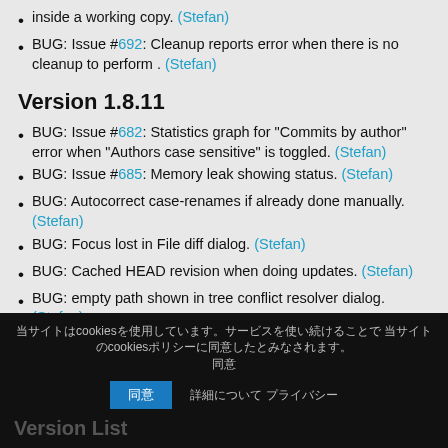inside a working copy. (Stefan)
BUG: Issue #692: Cleanup reports error when there is no cleanup to perform . (Stefan)
Version 1.8.11
BUG: Issue #682: Statistics graph for "Commits by author" error when "Authors case sensitive" is toggled. (Stefan)
BUG: Issue #685: Memory leak showing status. (Stefan)
BUG: Autocorrect case-renames if already done manually. (Stefan)
BUG: Focus lost in File diff dialog. (Stefan)
BUG: Cached HEAD revision when doing updates. (Stefan)
BUG: empty path shown in tree conflict resolver dialog. (Stefan)
BUG: working copy revision not shown in revision graph. (Stefan)
BUG: Focus problems when diffing. (Stefan)
Cookie notice bar with Japanese text about cookies and acceptance buttons.